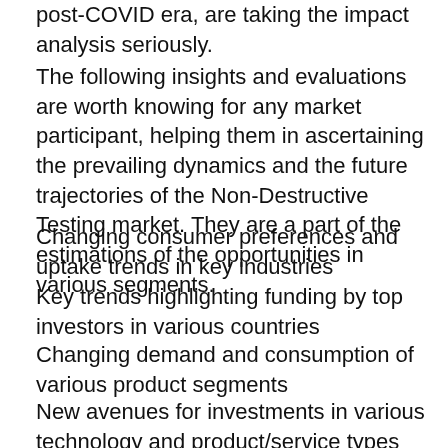post-COVID era, are taking the impact analysis seriously.
The following insights and evaluations are worth knowing for any market participant, helping them in ascertaining the prevailing dynamics and the future trajectories of the Non-Destructive Testing market. They are a part of the estimations of the opportunities in various segments.
Changing consumer preferences and uptake trends in key industries
Key trends highlighting funding by top investors in various countries
Changing demand and consumption of various product segments
New avenues for investments in various technology and product/service types
Recent regulations in key industries affecting the demand in the Non-Destructive Testing market
Detailed profiling of various players